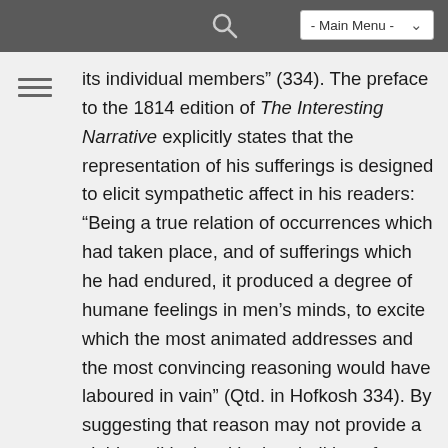- Main Menu -
its individual members” (334). The preface to the 1814 edition of The Interesting Narrative explicitly states that the representation of his sufferings is designed to elicit sympathetic affect in his readers: “Being a true relation of occurrences which had taken place, and of sufferings which he had endured, it produced a degree of humane feelings in men’s minds, to excite which the most animated addresses and the most convincing reasoning would have laboured in vain” (Qtd. in Hofkosh 334). By suggesting that reason may not provide a viable political tool in the abolition of slavery, these prefatory remarks focus the reader’s attention on the body itself–on precisely that which is commodified in the trade of African slaves. Hofkosh’s appraisal of these remarks draws